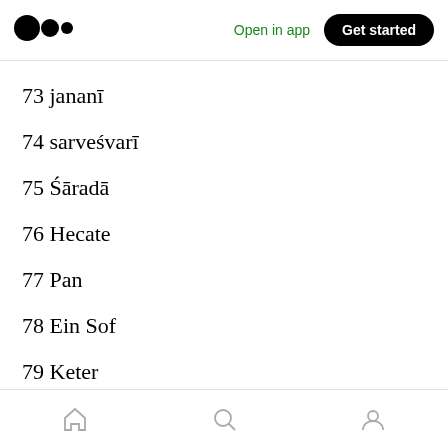Medium logo | Open in app | Get started
73 jananī
74 sarveśvarī
75 Śāradā
76 Hecate
77 Pan
78 Ein Sof
79 Keter
Home | Search | Profile